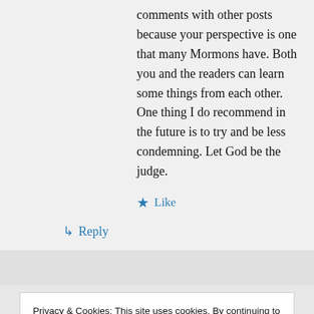comments with other posts because your perspective is one that many Mormons have. Both you and the readers can learn some things from each other. One thing I do recommend in the future is to try and be less condemning. Let God be the judge.
★ Like
↳ Reply
Privacy & Cookies: This site uses cookies. By continuing to use this website, you agree to their use.
To find out more, including how to control cookies, see here: Cookie Policy
Close and accept
PIPERPETUAL RD